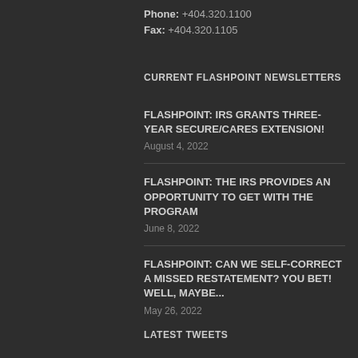Phone: +404.320.1100
Fax: +404.320.1105
CURRENT FLASHPOINT NEWSLETTERS
FLASHPOINT: IRS GRANTS THREE-YEAR SECURE/CARES EXTENSION!
August 4, 2022
FLASHPOINT: THE IRS PROVIDES AN OPPORTUNITY TO GET WITH THE PROGRAM
June 8, 2022
FLASHPOINT: CAN WE SELF-CORRECT A MISSED RESTATEMENT? YOU BET! WELL, MAYBE...
May 26, 2022
LATEST TWEETS